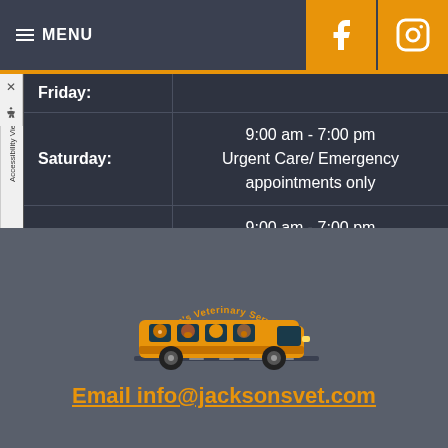MENU
| Day | Hours |
| --- | --- |
| Friday: |  |
| Saturday: | 9:00 am - 7:00 pm
Urgent Care/ Emergency appointments only |
| Sunday: | 9:00 am - 7:00 pm
Emergency Appointments only |
[Figure (logo): Jackson's Veterinary Services logo with orange van and animals inside]
Email info@jacksonsvet.com